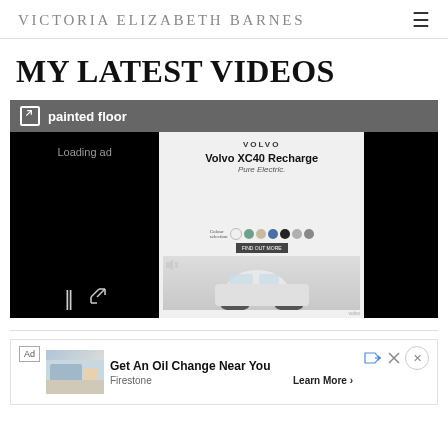Victoria Elizabeth Barnes
MY LATEST VIDEOS
[Figure (screenshot): Video player showing a painted floor video with a Volvo XC40 Recharge Pure Electric advertisement overlay. Left side shows black background with Loading ad text and playback controls. Center shows Volvo ad with color swatches and car image. Right side is black.]
[Figure (screenshot): Advertisement banner: Get An Oil Change Near You, Firestone, Learn More button. Small image of a Firestone service center.]